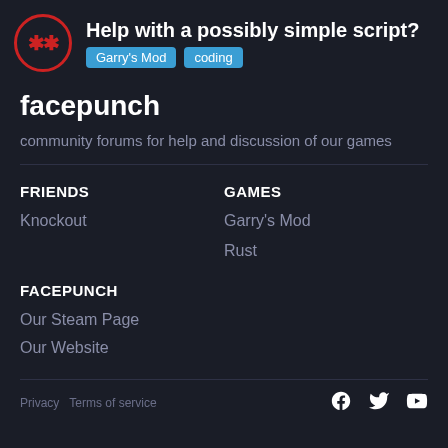Help with a possibly simple script? Garry's Mod coding
facepunch
community forums for help and discussion of our games
FRIENDS
Knockout
GAMES
Garry's Mod
Rust
FACEPUNCH
Our Steam Page
Our Website
Privacy  Terms of service